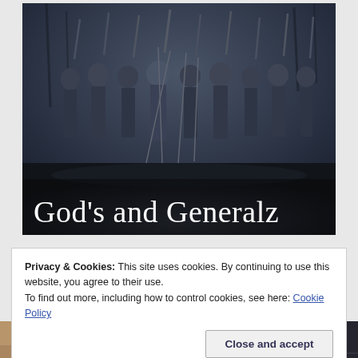[Figure (photo): Black and white historical photograph of Civil War soldiers standing in a row with rifles and bayonets stacked. The image has a dark, moody blue-gray tone. Overlaid at the bottom is the title text 'God's and Generalz' in large white serif font.]
Privacy & Cookies: This site uses cookies. By continuing to use this website, you agree to their use.
To find out more, including how to control cookies, see here: Cookie Policy
Close and accept
[Figure (photo): Partial view of two thumbnail images at the bottom of the page. Left thumbnail shows a person's face/portrait. Right thumbnail shows a dark historical image with text.]